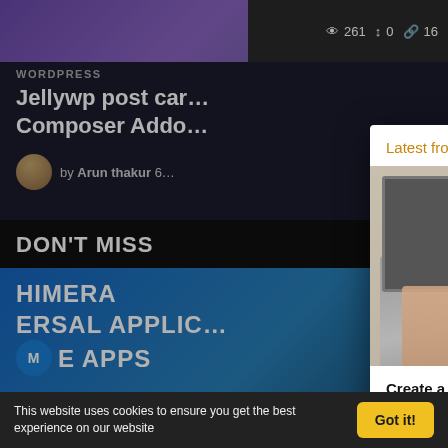[Figure (screenshot): Top purple banner strip with social stats: eye icon 261, retweet icon 0, share icon 16]
WORDPRESS
Jellywp post car… Composer Addo…
by Arun thakur 6…
DON'T MISS
[Figure (screenshot): Blue gradient section with text: HIMERA, ERSAL APPLIC…, ME E APPS]
[Figure (screenshot): Modal popup: Latest from our Blog, image of laptop with Make Money Without Google AdSense and CREATE YOUR OWN WEBSITE red button, post title: Create a Website and Start Earning from First Day Without AdSense – Hindi, date: October 17, 2021, categories: Hindi News, Knowledge Bas…, excerpt: Hello Everyone, Hum sabhi paisa kmana chahte hai or hum sab koshish bhi kr rhe hai or Hum 9-5 ki jobs ke alawa hmare pass koi opti…, Read More link, pagination dots]
This website uses cookies to ensure you get the best experience on our website
Got it!